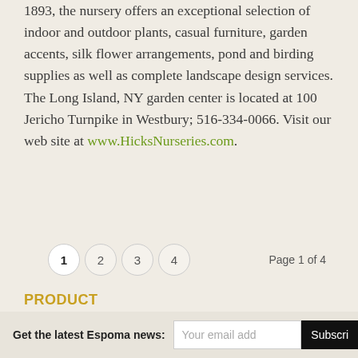1893, the nursery offers an exceptional selection of indoor and outdoor plants, casual furniture, garden accents, silk flower arrangements, pond and birding supplies as well as complete landscape design services. The Long Island, NY garden center is located at 100 Jericho Turnpike in Westbury; 516-334-0066. Visit our web site at www.HicksNurseries.com.
1  2  3  4    Page 1 of 4
PRODUCT
Get the latest Espoma news:  [Your email add]  [Subscribe]